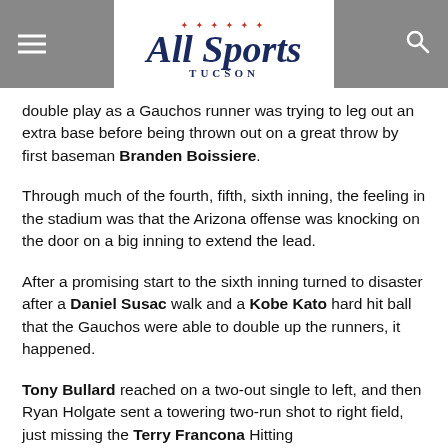All Sports Tucson
double play as a Gauchos runner was trying to leg out an extra base before being thrown out on a great throw by first baseman Branden Boissiere.
Through much of the fourth, fifth, sixth inning, the feeling in the stadium was that the Arizona offense was knocking on the door on a big inning to extend the lead.
After a promising start to the sixth inning turned to disaster after a Daniel Susac walk and a Kobe Kato hard hit ball that the Gauchos were able to double up the runners, it happened.
Tony Bullard reached on a two-out single to left, and then Ryan Holgate sent a towering two-run shot to right field, just missing the Terry Francona Hitting